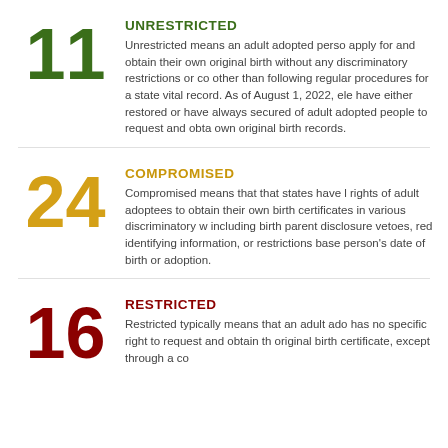11 UNRESTRICTED — Unrestricted means an adult adopted person can apply for and obtain their own original birth without any discriminatory restrictions or conditions other than following regular procedures for obtaining a state vital record. As of August 1, 2022, eleven states have either restored or have always secured the rights of adult adopted people to request and obtain their own original birth records.
24 COMPROMISED — Compromised means that that states have limited the rights of adult adoptees to obtain their own original birth certificates in various discriminatory ways, including birth parent disclosure vetoes, redaction of identifying information, or restrictions based on the person's date of birth or adoption.
16 RESTRICTED — Restricted typically means that an adult adoptee has no specific right to request and obtain their original birth certificate, except through a court order.